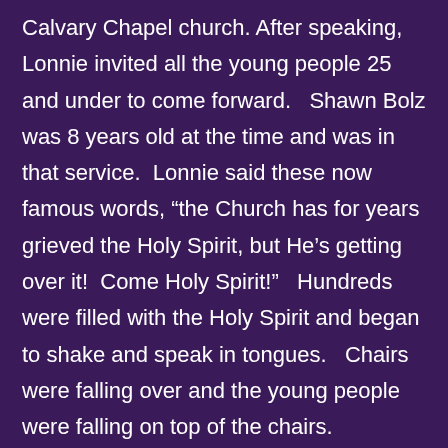Calvary Chapel church. After speaking, Lonnie invited all the young people 25 and under to come forward.   Shawn Bolz was 8 years old at the time and was in that service.  Lonnie said these now famous words, “the Church has for years grieved the Holy Spirit, but He’s getting over it!  Come Holy Spirit!”   Hundreds were filled with the Holy Spirit and began to shake and speak in tongues.   Chairs were falling over and the young people were falling on top of the chairs.  Everyone was in shock, including John Wimber.